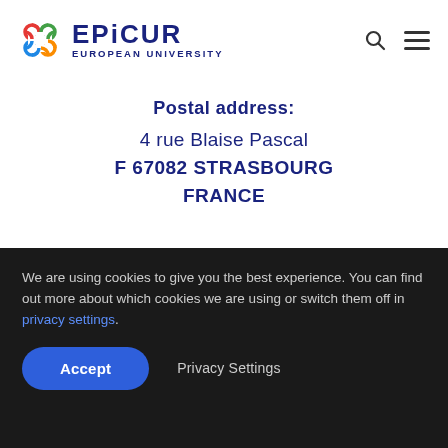[Figure (logo): EPiCUR European University logo with colorful interlocking chain links icon and dark blue text]
Postal address:
4 rue Blaise Pascal
F 67082 STRASBOURG
FRANCE
[Figure (illustration): Partially visible blue circle button at bottom of white content area]
We are using cookies to give you the best experience. You can find out more about which cookies we are using or switch them off in privacy settings.
Accept
Privacy Settings